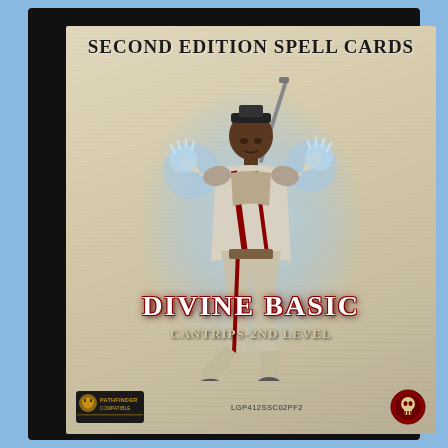Second Edition Spell Cards
[Figure (illustration): A dark-skinned warrior/cleric figure in Asian-inspired armor with flowing red and white robes, raising both hands with glowing blue-white energy, carrying a sword on their back, posed dynamically with one leg raised. Set against a blue-white radiant glow on a parchment-textured background.]
Divine Basic
Cantrips-2nd Level
[Figure (logo): Pathfinder Compatible logo at bottom left]
LGP412SSC02PF2
[Figure (logo): Legendary Games publisher logo at bottom right]